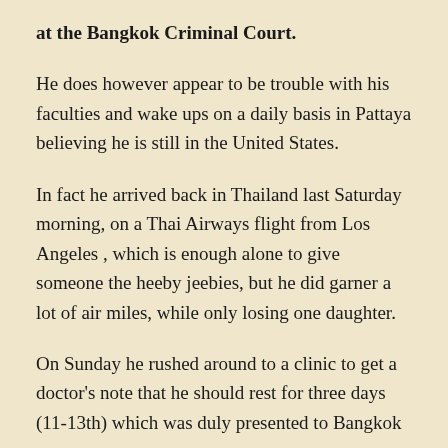at the Bangkok Criminal Court.
He does however appear to be trouble with his faculties and wake ups on a daily basis in Pattaya believing he is still in the United States.
In fact he arrived back in Thailand last Saturday morning, on a Thai Airways flight from Los Angeles , which is enough alone to give someone the heeby jeebies, but he did garner a lot of air miles, while only losing one daughter.
On Sunday he rushed around to a clinic to get a doctor's note that he should rest for three days (11-13th) which was duly presented to Bangkok